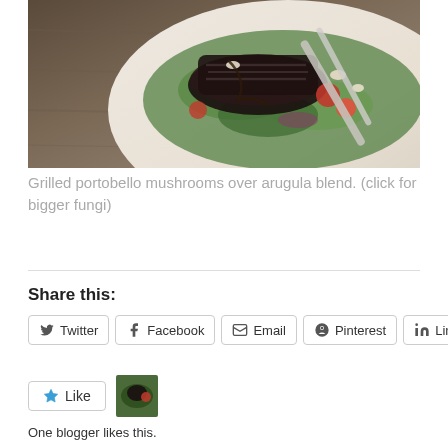[Figure (photo): Grilled portobello mushrooms on a white plate over arugula blend, with a fork, photographed from above]
Grilled portobello mushrooms over arugula blend. (click for bigger fungi)
Share this:
Twitter | Facebook | Email | Pinterest | LinkedIn
Like
One blogger likes this.